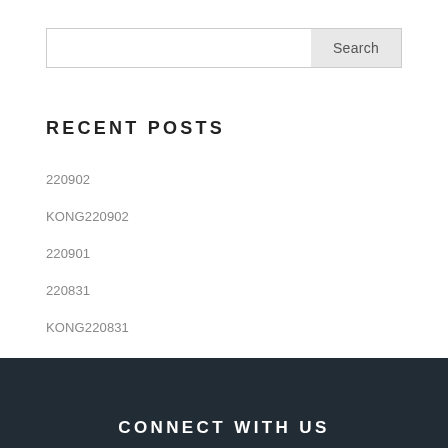Search
RECENT POSTS
220902
KONG220902
220901
220831
KONG220831
CONNECT WITH US